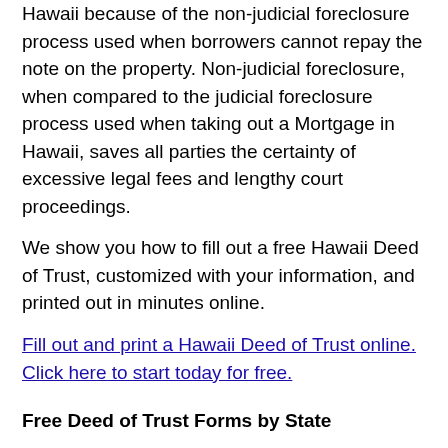Hawaii because of the non-judicial foreclosure process used when borrowers cannot repay the note on the property. Non-judicial foreclosure, when compared to the judicial foreclosure process used when taking out a Mortgage in Hawaii, saves all parties the certainty of excessive legal fees and lengthy court proceedings.
We show you how to fill out a free Hawaii Deed of Trust, customized with your information, and printed out in minutes online.
Fill out and print a Hawaii Deed of Trust online. Click here to start today for free.
Free Deed of Trust Forms by State
Alabama Deed of Trust
Alaska Deed of Trust
Arizona Deed of Trust
Arkansas Deed of Trust
California Deed of Trust